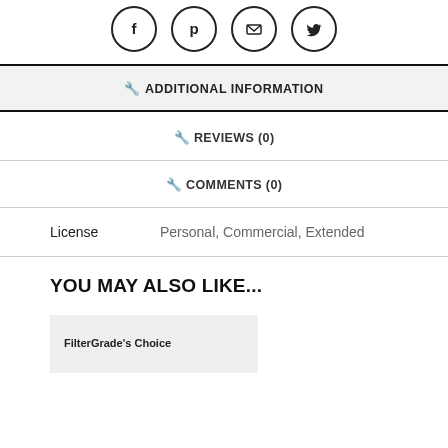[Figure (illustration): Four social media icon circles: Facebook, Pinterest, Email/Gmail, Twitter]
🔧 ADDITIONAL INFORMATION
🔧 REVIEWS (0)
🔧 COMMENTS (0)
License    Personal, Commercial, Extended
YOU MAY ALSO LIKE...
FilterGrade's Choice